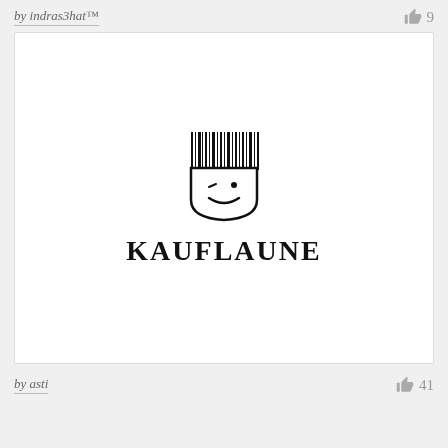by indras3hat™
9
[Figure (logo): Kauflaune logo: a barcode forming the hair/top of a simple face icon with a wink and smile, above the bold serif text KAUFLAUNE]
by asti
41